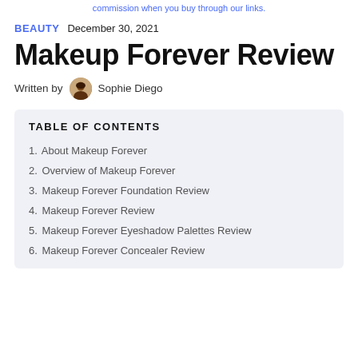commission when you buy through our links.
BEAUTY   December 30, 2021
Makeup Forever Review
Written by   Sophie Diego
TABLE OF CONTENTS
1. About Makeup Forever
2. Overview of Makeup Forever
3. Makeup Forever Foundation Review
4. Makeup Forever Review
5. Makeup Forever Eyeshadow Palettes Review
6. Makeup Forever Concealer Review